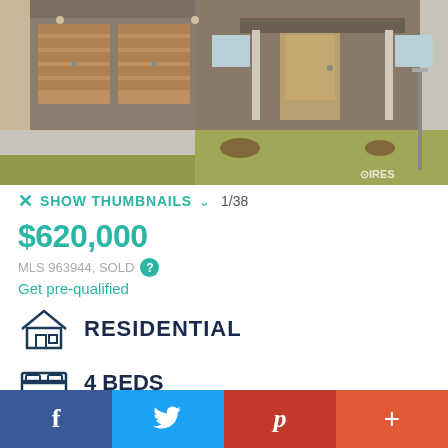[Figure (photo): Exterior photo of a residential home with brown garage doors, brick facade, covered front porch, and lawn. IRES logo watermark in bottom right.]
SHOW THUMBNAILS 1/38
$620,000
MLS 963944, SOLD ?
Get pre-qualified
RESIDENTIAL
4 BEDS
f  Twitter  p  +